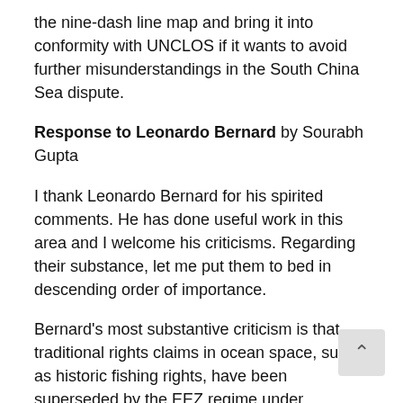the nine-dash line map and bring it into conformity with UNCLOS if it wants to avoid further misunderstandings in the South China Sea dispute.
Response to Leonardo Bernard by Sourabh Gupta
I thank Leonardo Bernard for his spirited comments. He has done useful work in this area and I welcome his criticisms. Regarding their substance, let me put them to bed in descending order of importance.
Bernard's most substantive criticism is that traditional rights claims in ocean space, such as historic fishing rights, have been superseded by the EEZ regime under UNCLOS, and that such rights are now regulated in great detail by the Convention. The argument is false. According to the unanimous ve of the international arbitrators in the Eritrea/Yemen